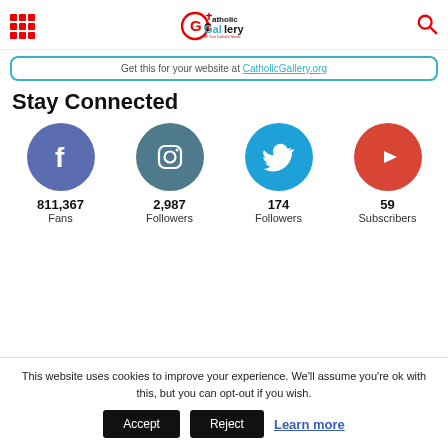Catholic Gallery - All Your Catholic Needs
Get this for your website at CatholicGallery.org
Stay Connected
[Figure (infographic): Four social media icons with follower counts: Facebook 811,367 Fans, Instagram 2,987 Followers, Twitter 174 Followers, YouTube 59 Subscribers]
This website uses cookies to improve your experience. We'll assume you're ok with this, but you can opt-out if you wish.